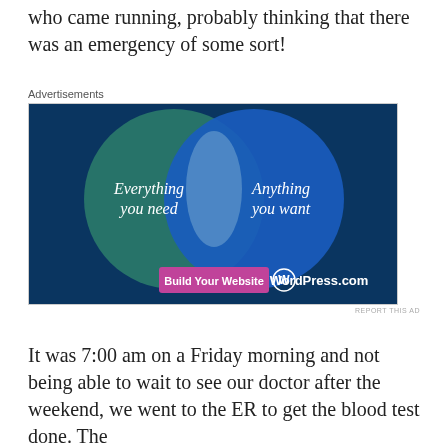who came running, probably thinking that there was an emergency of some sort!
[Figure (infographic): WordPress.com advertisement showing a Venn diagram with two overlapping circles on a dark blue background. Left circle (teal/green) labeled 'Everything you need', right circle (blue) labeled 'Anything you want'. A pink button says 'Build Your Website' and the WordPress.com logo appears at bottom right.]
Advertisements
It was 7:00 am on a Friday morning and not being able to wait to see our doctor after the weekend, we went to the ER to get the blood test done. The